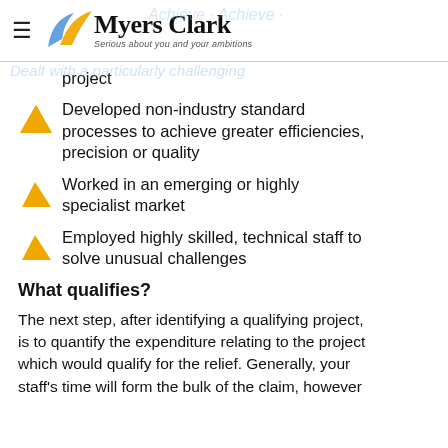Myers Clark — Serious about you and your ambitions
Dealt with a particularly challenging project
Developed non-industry standard processes to achieve greater efficiencies, precision or quality
Worked in an emerging or highly specialist market
Employed highly skilled, technical staff to solve unusual challenges
What qualifies?
The next step, after identifying a qualifying project, is to quantify the expenditure relating to the project which would qualify for the relief. Generally, your staff's time will form the bulk of the claim, however